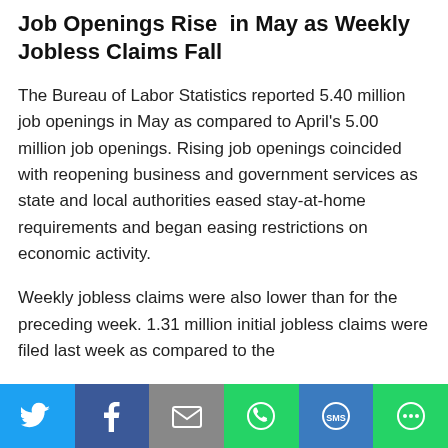Job Openings Rise in May as Weekly Jobless Claims Fall
The Bureau of Labor Statistics reported 5.40 million job openings in May as compared to April's 5.00 million job openings. Rising job openings coincided with reopening business and government services as state and local authorities eased stay-at-home requirements and began easing restrictions on economic activity.
Weekly jobless claims were also lower than for the preceding week. 1.31 million initial jobless claims were filed last week as compared to the
[Figure (infographic): Social sharing bar with Twitter, Facebook, Email, WhatsApp, SMS, and More buttons]